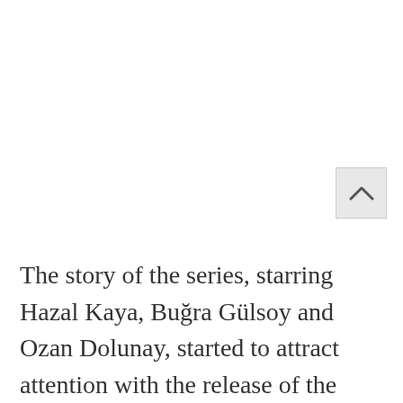[Figure (other): Scroll-to-top button with upward chevron arrow on light grey background]
The story of the series, starring Hazal Kaya, Buğra Gülsoy and Ozan Dolunay, started to attract attention with the release of the trailers. The young woman, who had a traumatic childhood, suddenly jumped on the road in traffic and the female driver of the